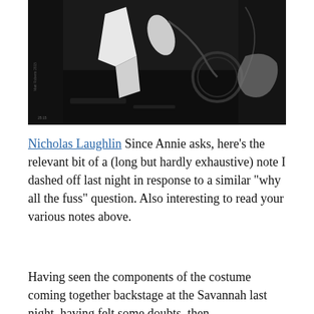[Figure (photo): Black and white photograph showing backstage or behind-the-scenes scene with costume or equipment elements on a dark floor, including what appears to be white fabric or garment pieces and mechanical equipment.]
Nicholas Laughlin Since Annie asks, here’s the relevant bit of a (long but hardly exhaustive) note I dashed off last night in response to a similar “why all the fuss” question. Also interesting to read your various notes above.
Having seen the components of the costume coming together backstage at the Savannah last night, having felt some doubts, then